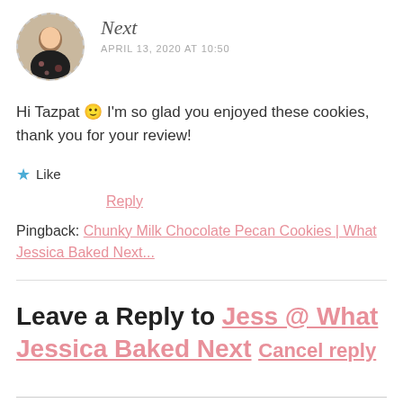[Figure (photo): Circular avatar photo of a woman with dark hair wearing a floral top, dashed circular border]
Next
APRIL 13, 2020 AT 10:50
Hi Tazpat 🙂 I'm so glad you enjoyed these cookies, thank you for your review!
★ Like
Reply
Pingback: Chunky Milk Chocolate Pecan Cookies | What Jessica Baked Next...
Leave a Reply to Jess @ What Jessica Baked Next Cancel reply